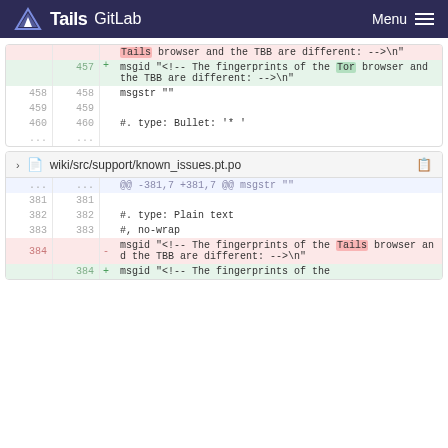Tails GitLab  Menu
| old | new | code |
| --- | --- | --- |
|  |  | Tails browser and the TBB are different: -->\n" |
| 457 |  | + msgid "<!-- The fingerprints of the Tor browser and the TBB are different: -->\n" |
| 458 | 458 | msgstr "" |
| 459 | 459 |  |
| 460 | 460 | #. type: Bullet: '* ' |
| ... | ... |  |
wiki/src/support/known_issues.pt.po
| old | new | code |
| --- | --- | --- |
| ... | ... | @@ -381,7 +381,7 @@ msgstr "" |
| 381 | 381 |  |
| 382 | 382 | #. type: Plain text |
| 383 | 383 | #, no-wrap |
| 384 |  | - msgid "<!-- The fingerprints of the Tails browser and the TBB are different: -->\n" |
|  | 384 | + msgid "<!-- The fingerprints of the |